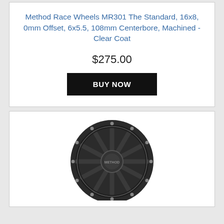Method Race Wheels MR301 The Standard, 16x8, 0mm Offset, 6x5.5, 108mm Centerbore, Machined - Clear Coat
$275.00
BUY NOW
[Figure (photo): A black Method Race Wheels MR301 wheel shown from the front, displaying 10 spokes, a bead ring with bolts around the outer edge, and the Method logo center cap. The wheel is machined with a matte black finish.]